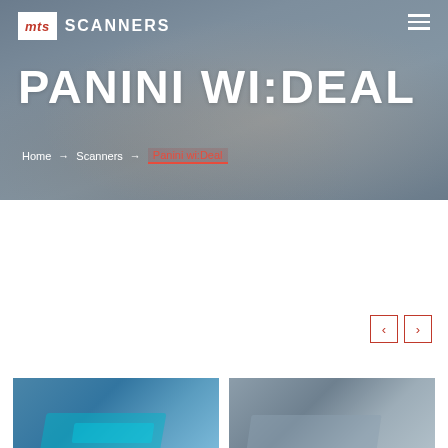[Figure (screenshot): MTS Scanners website header with logo, navigation hamburger menu, hero background image of people at desk]
PANINI WI:DEAL
Home → Scanners → Panini wi:Deal
[Figure (photo): Two product thumbnail images at bottom of page - left shows Panini wi:Deal scanner in blue tones, right shows another view in grey tones]